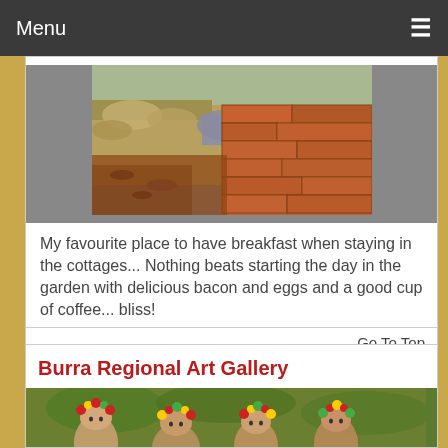Menu ≡
[Figure (photo): Brick pathway with dry grass and garden border]
My favourite place to have breakfast when staying in the cottages... Nothing beats starting the day in the garden with delicious bacon and eggs and a good cup of coffee... bliss!
Go To Top
Burra Regional Art Gallery
[Figure (photo): Women in traditional costumes with floral headpieces at an outdoor event]